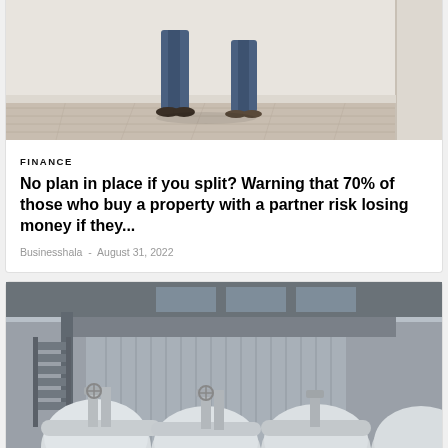[Figure (photo): Two people standing in an empty room with light wood flooring, viewed from below the waist — jeans and casual shoes visible]
FINANCE
No plan in place if you split? Warning that 70% of those who buy a property with a partner risk losing money if they...
Businesshala - August 31, 2022
[Figure (photo): Industrial gas facility with large white cylindrical pipes and valves in the foreground, industrial building structure in the background]